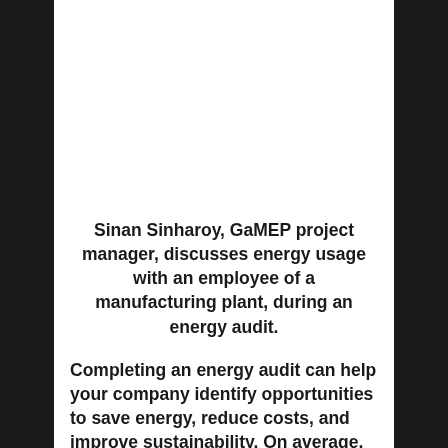Sinan Sinharoy, GaMEP project manager, discusses energy usage with an employee of a manufacturing plant, during an energy audit.
Completing an energy audit can help your company identify opportunities to save energy, reduce costs, and improve sustainability. On average, each assessment